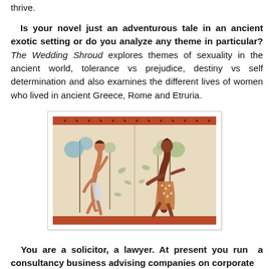thrive.
Is your novel just an adventurous tale in an ancient exotic setting or do you analyze any theme in particular? The Wedding Shroud explores themes of sexuality in the ancient world, tolerance vs prejudice, destiny vs self determination and also examines the different lives of women who lived in ancient Greece, Rome and Etruria.
[Figure (photo): Ancient Etruscan fresco painting showing two figures among trees and foliage on a cream/ochre background with red border stripe at top. Left figure is a slender male in light garment; right figure is a broader figure in decorated garment, both depicted in profile.]
You are a solicitor, a lawyer. At present you run a consultancy business advising companies on corporate